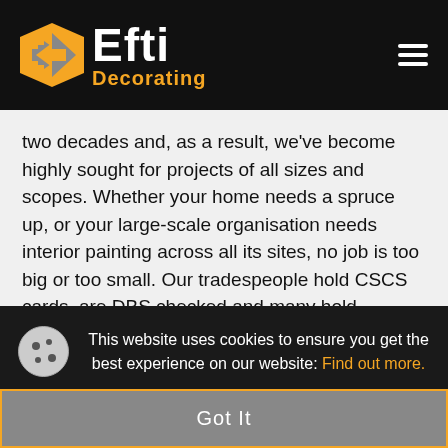[Figure (logo): Efti Decorating logo with orange and grey arrow icon on black background, with hamburger menu icon on the right]
two decades and, as a result, we've become highly sought for projects of all sizes and scopes. Whether your home needs a spruce up, or your large-scale organisation needs interior painting across all its sites, no job is too big or too small. Our tradespeople hold CSCS cards, are DBS checked and many hold asbestos awareness certification. As such, we are able to decorate both modern and period homes, sensitively, expertly and for great value for money. As a testament to our
This website uses cookies to ensure you get the best experience on our website: Find out more.
Got It